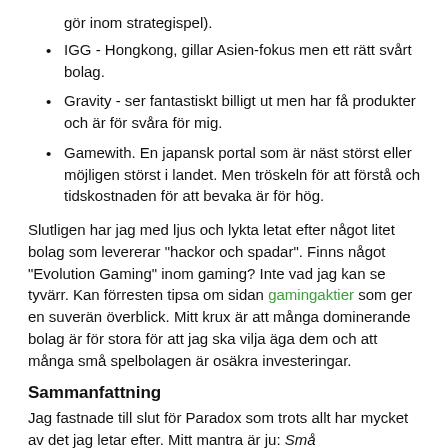gör inom strategispel).
IGG - Hongkong, gillar Asien-fokus men ett rätt svårt bolag.
Gravity - ser fantastiskt billigt ut men har få produkter och är för svåra för mig.
Gamewith. En japansk portal som är näst störst eller möjligen störst i landet. Men tröskeln för att förstå och tidskostnaden för att bevaka är för hög.
Slutligen har jag med ljus och lykta letat efter något litet bolag som levererar "hackor och spadar". Finns något "Evolution Gaming" inom gaming? Inte vad jag kan se tyvärr. Kan förresten tipsa om sidan gamingaktier som ger en suverän överblick. Mitt krux är att många dominerande bolag är för stora för att jag ska vilja äga dem och att många små spelbolagen är osäkra investeringar.
Sammanfattning
Jag fastnade till slut för Paradox som trots allt har mycket av det jag letar efter. Mitt mantra är ju: Små marknadsledande